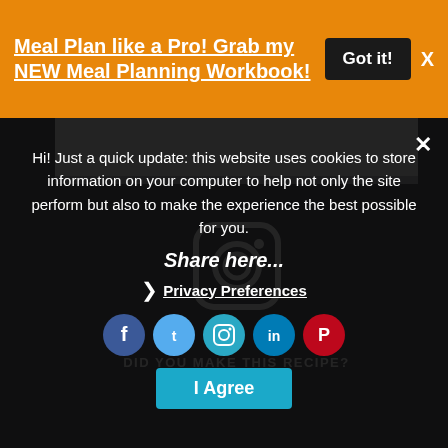Meal Plan like a Pro! Grab my NEW Meal Planning Workbook!
Got it!
[Figure (logo): Instagram logo icon (white camera icon on gray background)]
DID YOU MAKE THIS RECIPE?
Hi! Just a quick update: this website uses cookies to store information on your computer to help not only the site perform but also to make the experience the best possible for you.
Share here...
Privacy Preferences
I Agree